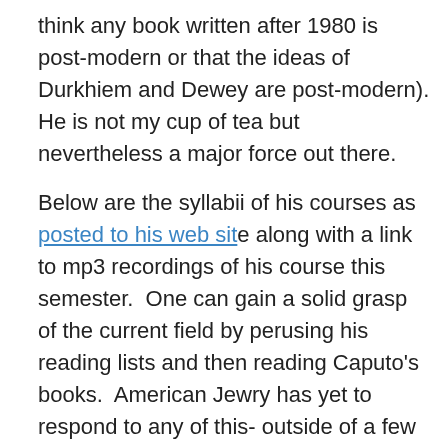think any book written after 1980 is post-modern or that the ideas of Durkhiem and Dewey are post-modern). He is not my cup of tea but nevertheless a major force out there.
Below are the syllabii of his courses as posted to his web site along with a link to mp3 recordings of his course this semester.  One can gain a solid grasp of the current field by perusing his reading lists and then reading Caputo's books.  American Jewry has yet to respond to any of this- outside of a few unknown academics.
John D. Caputo is influenced by Heidegger and "treats "sacred" texts as a poetics of the human condition, or as a "theo-poetics," a poetics of the event harbored in the name of God. His past books have attempted to persuade us that hermeneutics goes all the way down (Radical Hermeneutics), that Derrida is a thinker to be reckoned